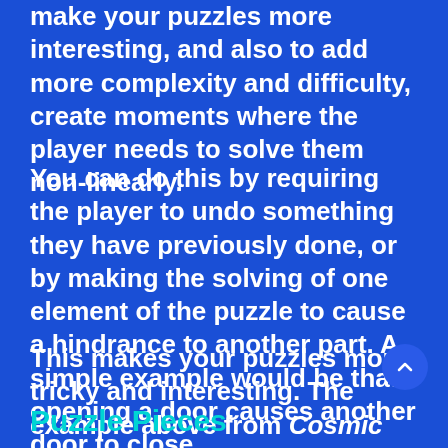make your puzzles more interesting, and also to add more complexity and difficulty, create moments where the player needs to solve them non-linearly.
You can do this by requiring the player to undo something they have previously done, or by making the solving of one element of the puzzle to cause a hindrance to another part. A simple example would be that opening a door causes another door to close.
This makes your puzzles more tricky and interesting. The example above from Cosmic Express uses a type of backtracking.
Puzzle Pieces